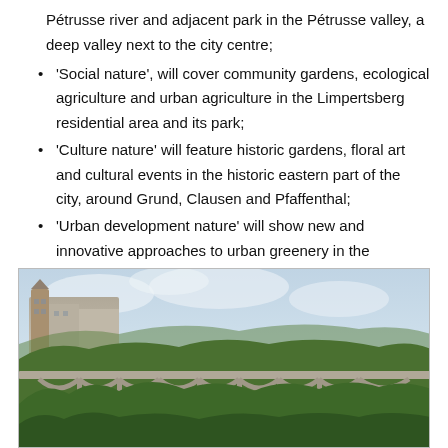Pétrusse river and adjacent park in the Pétrusse valley, a deep valley next to the city centre;
'Social nature', will cover community gardens, ecological agriculture and urban agriculture in the Limpertsberg residential area and its park;
'Culture nature' will feature historic gardens, floral art and cultural events in the historic eastern part of the city, around Grund, Clausen and Pfaffenthal;
'Urban development nature' will show new and innovative approaches to urban greenery in the Kirchberg business district.
[Figure (photo): A stone viaduct bridge with multiple arched supports surrounded by lush green trees, with historic European buildings visible in the background under a light cloudy sky. This appears to be the Pétrusse valley or similar area in Luxembourg City.]